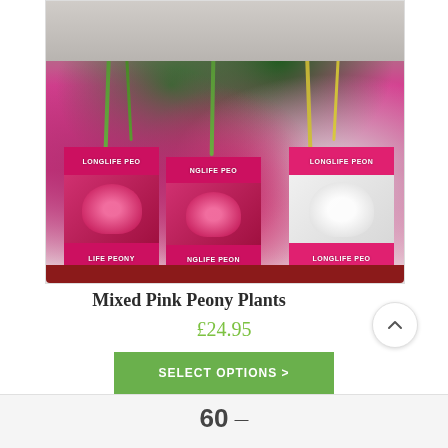[Figure (photo): Three potted peony plants in bright pink 'Longlife Peony' branded sleeves arranged in a red tray. Left and center pots have pink peony images on the sleeve, right pot has white peony image. Green leafy stems visible above.]
Mixed Pink Peony Plants
£24.95
SELECT OPTIONS >
60